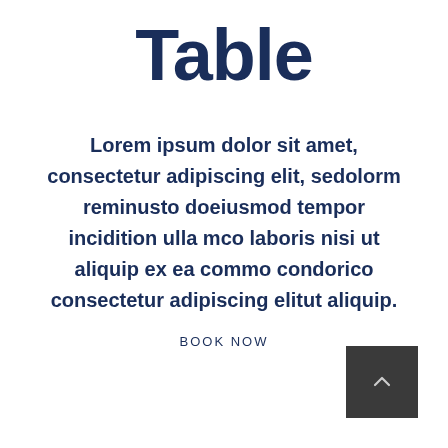Table
Lorem ipsum dolor sit amet, consectetur adipiscing elit, sedolorm reminusto doeiusmod tempor incidition ulla mco laboris nisi ut aliquip ex ea commo condorico consectetur adipiscing elitut aliquip.
BOOK NOW
[Figure (other): Dark grey square button with a small upward-pointing chevron arrow icon in white/light color]